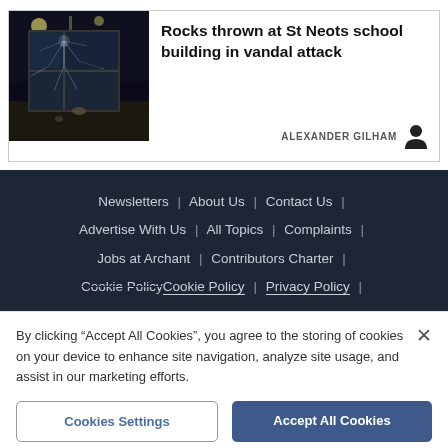[Figure (photo): Night-time photo of shattered glass door/window of a school building]
Rocks thrown at St Neots school building in vandal attack
ALEXANDER GILHAM
Newsletters | About Us | Contact Us | Advertise With Us | All Topics | Complaints | Jobs at Archant | Contributors Charter | Cookie Policy | Privacy Policy |
By clicking "Accept All Cookies", you agree to the storing of cookies on your device to enhance site navigation, analyze site usage, and assist in our marketing efforts.
Cookies Settings
Accept All Cookies